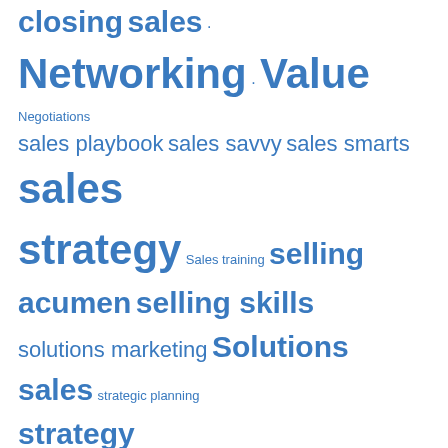closing sales · Networking · Value Negotiations sales playbook sales savvy sales smarts sales strategy Sales training selling acumen selling skills solutions marketing Solutions sales strategic planning strategy
Top Clicks
None
Categories
B2B marketing
B2B sales